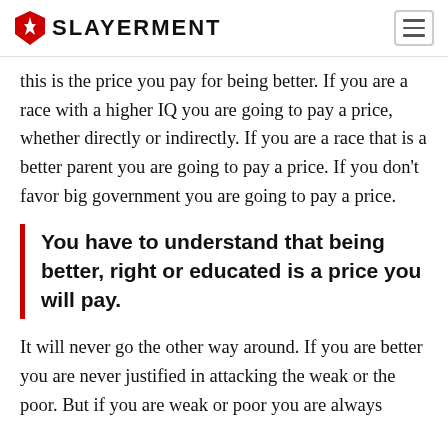SLAYERMENT
this is the price you pay for being better. If you are a race with a higher IQ you are going to pay a price, whether directly or indirectly. If you are a race that is a better parent you are going to pay a price. If you don't favor big government you are going to pay a price.
You have to understand that being better, right or educated is a price you will pay.
It will never go the other way around. If you are better you are never justified in attacking the weak or the poor. But if you are weak or poor you are always